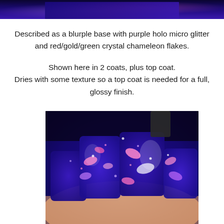[Figure (photo): Partial top view of fingers with deep blue/purple glitter nail polish with chameleon flakes]
Described as a blurple base with purple holo micro glitter and red/gold/green crystal chameleon flakes.
Shown here in 2 coats, plus top coat. Dries with some texture so a top coat is needed for a full, glossy finish.
[Figure (photo): Close-up photo of hand with square nails painted in deep blue/blurple nail polish with iridescent red/pink/green chameleon flakes and holo micro glitter]